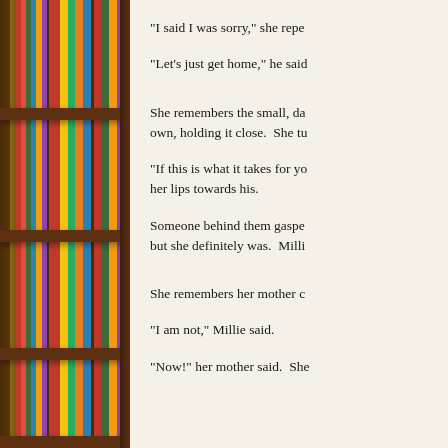[Figure (photo): A tall bookshelf filled with colorful books of various sizes and colors, photographed from close range showing multiple shelves.]
“I said I was sorry,” she repe
“Let’s just get home,” he said
She remembers the small, da own, holding it close.  She tu
“If this is what it takes for yo her lips towards his.
Someone behind them gaspe but she definitely was.  Milli
She remembers her mother c
“I am not,” Millie said.
“Now!” her mother said.  She